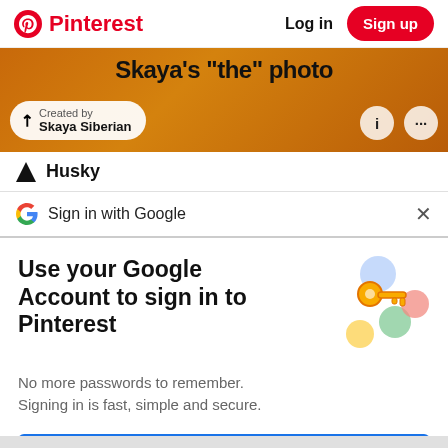[Figure (screenshot): Pinterest website header with logo, Log in text and Sign up button]
[Figure (screenshot): Orange banner image showing Skaya's 'the' photo, Creator pill showing 'Created by Skaya Siberian', info and more icons]
[Figure (screenshot): Husky logo row with triangular logo and Husky text]
Sign in with Google
Use your Google Account to sign in to Pinterest
No more passwords to remember. Signing in is fast, simple and secure.
[Figure (illustration): Google key illustration with colorful circles and golden key]
Continue